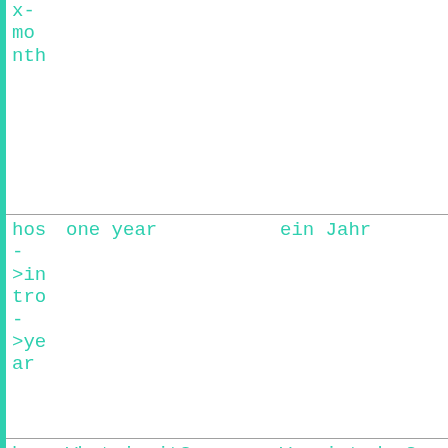|  | code | english | german |
| --- | --- | --- | --- |
|  | x-
mo
nth |  |  |
|  | hos
-
>in
tro
-
>ye
ar | one year | ein Jahr |
|  | hos
-
>w
hat
-
>ti
tle | What is it? | Was ist das? |